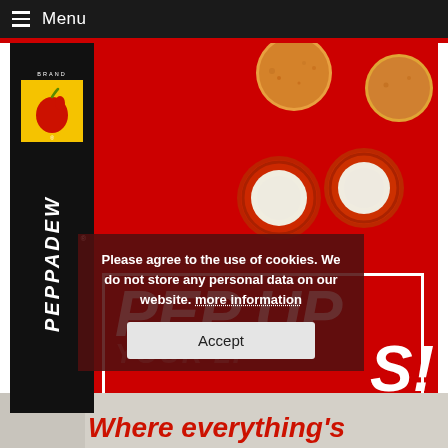Menu
[Figure (photo): Peppadew brand advertisement showing red background with food items (cheese-stuffed peppadew peppers and breaded balls), with PEPPADEW brand logo on black vertical sidebar. Large white bold italic text reads 'PEP UP YOUR LIVES!']
Please agree to the use of cookies. We do not store any personal data on our website. more information
Accept
Where everything's